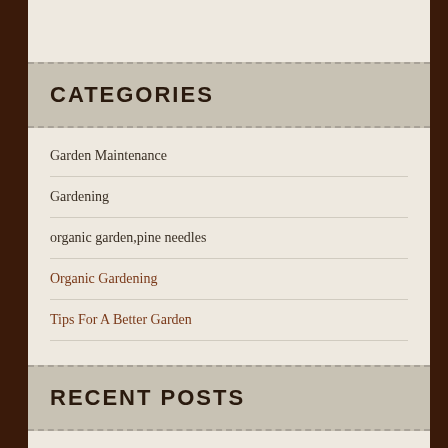CATEGORIES
Garden Maintenance
Gardening
organic garden,pine needles
Organic Gardening
Tips For A Better Garden
RECENT POSTS
Excellent Advice For The Beginning Organic Gardener